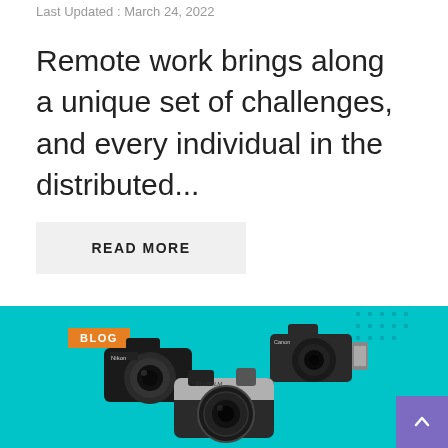Last Updated : March 24, 2022
Remote work brings along a unique set of challenges, and every individual in the distributed...
READ MORE
[Figure (illustration): Teal/cyan background banner with a BLOG tag label in orange, showing three cameras (Nikon mirrorless, Canon DSLR, Fujifilm mirrorless) arranged on the background with decorative dot patterns in the top-right corner. A purple scroll-to-top button is in the bottom-right.]